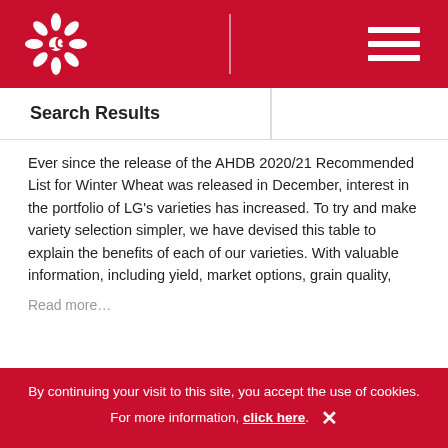LG Seeds header with logo and navigation
Search Results
Ever since the release of the AHDB 2020/21 Recommended List for Winter Wheat was released in December, interest in the portfolio of LG's varieties has increased. To try and make variety selection simpler, we have devised this table to explain the benefits of each of our varieties. With valuable information, including yield, market options, grain quality,
Read more…
Late drilling window still open – but
By continuing your visit to this site, you accept the use of cookies. For more information, click here.